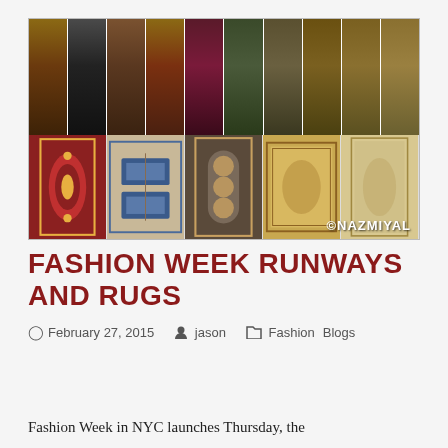[Figure (photo): Collage image with top row showing fashion runway models wearing bohemian/ethnic patterned clothing, and bottom row showing five antique Persian/Oriental rugs side by side. Watermark reads ©NAZMIYAL.]
FASHION WEEK RUNWAYS AND RUGS
February 27, 2015   jason   Fashion Blogs
Fashion Week in NYC launches Thursday, the